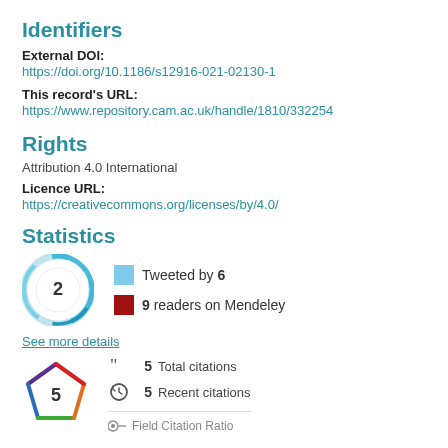Identifiers
External DOI:
https://doi.org/10.1186/s12916-021-02130-1
This record's URL:
https://www.repository.cam.ac.uk/handle/1810/332254
Rights
Attribution 4.0 International
Licence URL:
https://creativecommons.org/licenses/by/4.0/
Statistics
[Figure (infographic): Altmetric donut badge showing score 2, with blue swirl design. Legend: light blue box = Tweeted by 6; dark red box = 9 readers on Mendeley]
See more details
[Figure (infographic): Dimensions citation badge showing score 5 in a rainbow pentagon shape. Stats: 5 Total citations, 5 Recent citations, partially visible third row]